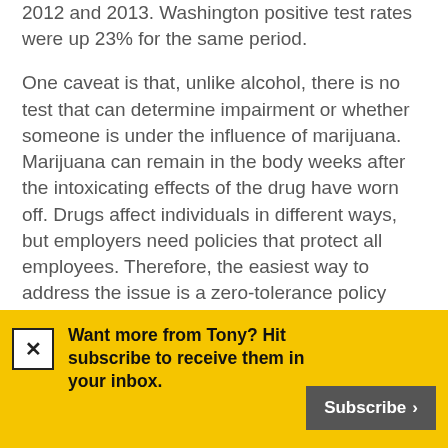2012 and 2013. Washington positive test rates were up 23% for the same period.
One caveat is that, unlike alcohol, there is no test that can determine impairment or whether someone is under the influence of marijuana. Marijuana can remain in the body weeks after the intoxicating effects of the drug have worn off. Drugs affect individuals in different ways, but employers need policies that protect all employees. Therefore, the easiest way to address the issue is a zero-tolerance policy applied uniformly
Want more from Tony? Hit subscribe to receive them in your inbox.